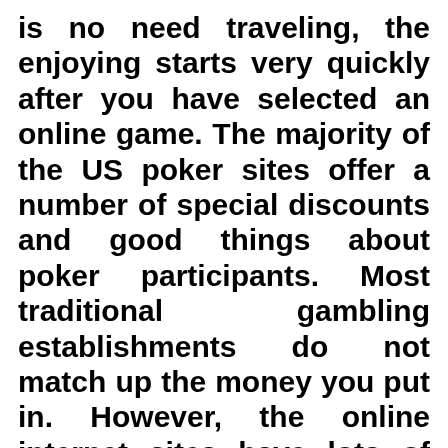is no need traveling, the enjoying starts very quickly after you have selected an online game. The majority of the US poker sites offer a number of special discounts and good things about poker participants. Most traditional gambling establishments do not match up the money you put in. However, the online internet sites have lots of offers that can match up a share or the whole quantity you put in. However you should do some research to get the best supply, [icon] is often worth the time expended, as you will make more money playing in the